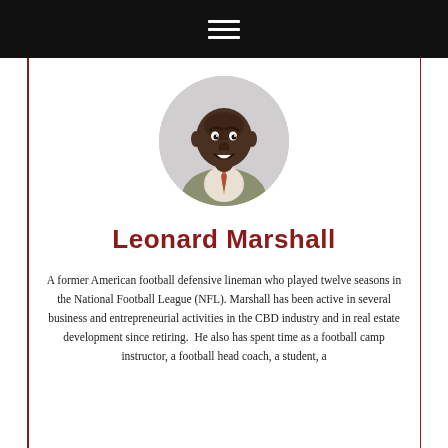[Figure (photo): Circular portrait photo of Leonard Marshall, a Black man wearing a grey suit jacket and patterned tie, smiling at the camera against a light background.]
Leonard Marshall
A former American football defensive lineman who played twelve seasons in the National Football League (NFL). Marshall has been active in several business and entrepreneurial activities in the CBD industry and in real estate development since retiring. He also has spent time as a football camp instructor, a football head coach, a student, a